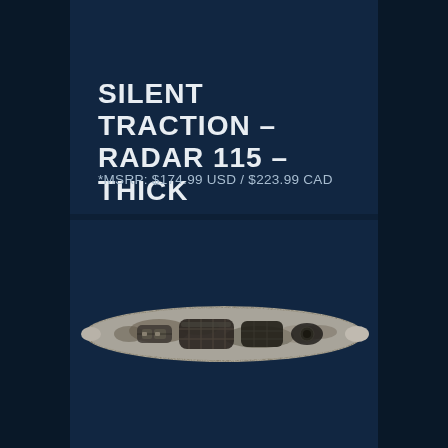SILENT TRACTION - RADAR 115 - THICK
*MSRP: $174.99 USD / $223.99 CAD
[Figure (photo): Top-down aerial view of a kayak with camouflage/mossy oak pattern, showing seat, foot wells, and storage areas on a dark navy background]